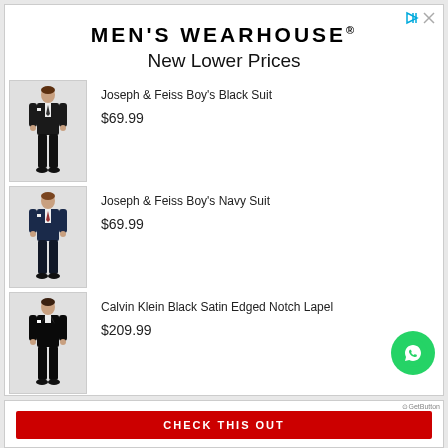MEN'S WEARHOUSE®
New Lower Prices
[Figure (illustration): Boy in black suit, full body standing pose]
Joseph & Feiss Boy's Black Suit
$69.99
[Figure (illustration): Boy in navy suit, full body standing pose]
Joseph & Feiss Boy's Navy Suit
$69.99
[Figure (illustration): Man in black satin edged notch lapel tuxedo, full body standing pose]
Calvin Klein Black Satin Edged Notch Lapel
$209.99